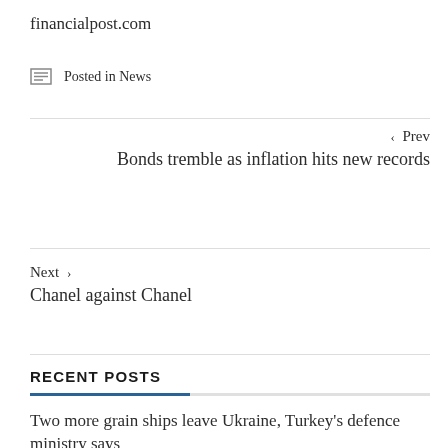financialpost.com
Posted in News
‹ Prev
Bonds tremble as inflation hits new records
Next ›
Chanel against Chanel
RECENT POSTS
Two more grain ships leave Ukraine, Turkey's defence ministry says